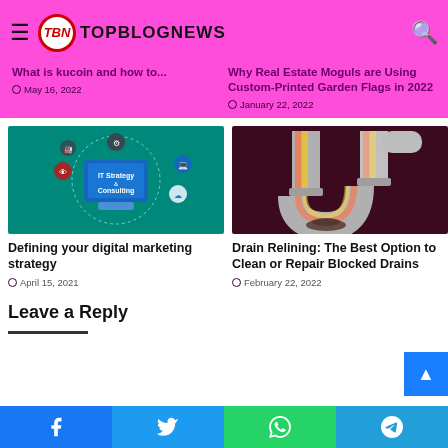TopBlogNews
What is kucoin and how to...
May 16, 2022
Why Real Estate Moguls are Using Custom-Printed Garden Flags in 2022
January 22, 2022
[Figure (illustration): IT Strategy and Consulting digital marketing illustration showing a tablet with various app icons]
Defining your digital marketing strategy
April 15, 2021
[Figure (photo): Drain pipe relining photo showing a U-bend pipe cross section with orange and grey drainage]
Drain Relining: The Best Option to Clean or Repair Blocked Drains
February 22, 2022
Leave a Reply
Facebook | Twitter | WhatsApp | Telegram social share bar